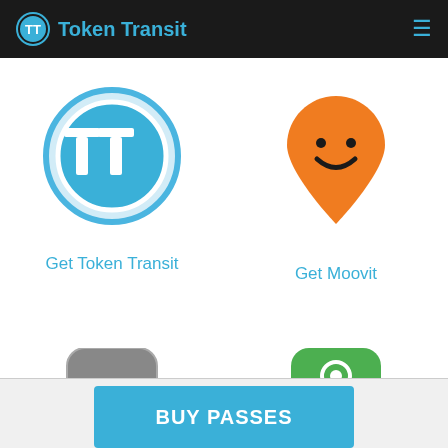Token Transit
[Figure (logo): Token Transit app logo - blue circle with TT letters]
Get Token Transit
[Figure (logo): Moovit app logo - orange map pin shape with smiley face]
Get Moovit
[Figure (logo): Partial app icon (dark, rounded rectangle, partially visible)]
[Figure (logo): Partial app icon (green, rounded rectangle, partially visible)]
BUY PASSES